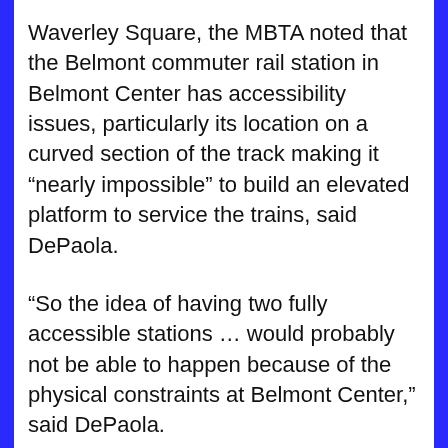Waverley Square, the MBTA noted that the Belmont commuter rail station in Belmont Center has accessibility issues, particularly its location on a curved section of the track making it “nearly impossible” to build an elevated platform to service the trains, said DePaola.
“So the idea of having two fully accessible stations … would probably not be able to happen because of the physical constraints at Belmont Center,” said DePaola.
If Waverley is upgraded, the likely scenario is to close Belmont Center shortly and build another station near that site, he said.